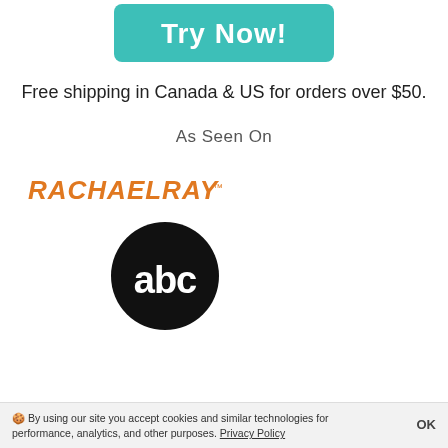[Figure (other): Teal/turquoise rounded button with white bold text 'Try Now!']
Free shipping in Canada & US for orders over $50.
As Seen On
[Figure (logo): Rachael Ray logo in orange stylized handwritten font]
[Figure (logo): ABC network logo - white 'abc' text on black circle]
🍪 By using our site you accept cookies and similar technologies for performance, analytics, and other purposes. Privacy Policy